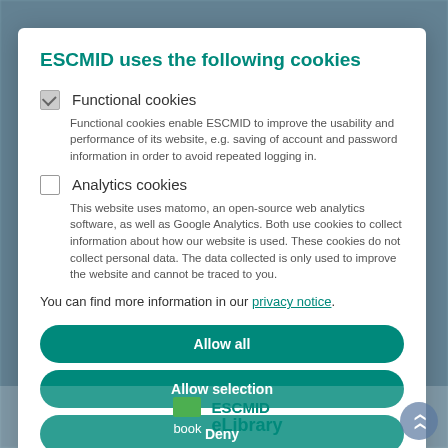ESCMID uses the following cookies
Functional cookies — Functional cookies enable ESCMID to improve the usability and performance of its website, e.g. saving of account and password information in order to avoid repeated logging in.
Analytics cookies — This website uses matomo, an open-source web analytics software, as well as Google Analytics. Both use cookies to collect information about how our website is used. These cookies do not collect personal data. The data collected is only used to improve the website and cannot be traced to you.
You can find more information in our privacy notice.
Allow all
Allow selection
Deny
book  ESCMID eLibrary